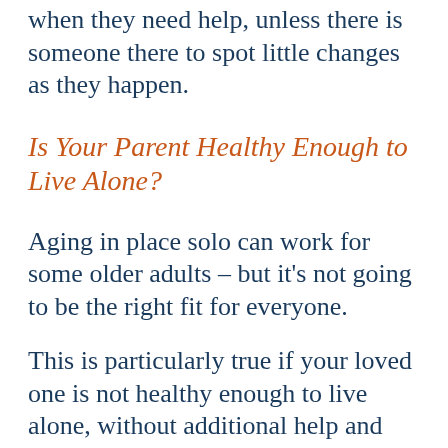when they need help, unless there is someone there to spot little changes as they happen.
Is Your Parent Healthy Enough to Live Alone?
Aging in place solo can work for some older adults – but it's not going to be the right fit for everyone.
This is particularly true if your loved one is not healthy enough to live alone, without additional help and support from family, friends, or a professional caregiver. While many older adults can get by on their own, the reality is that many need extra